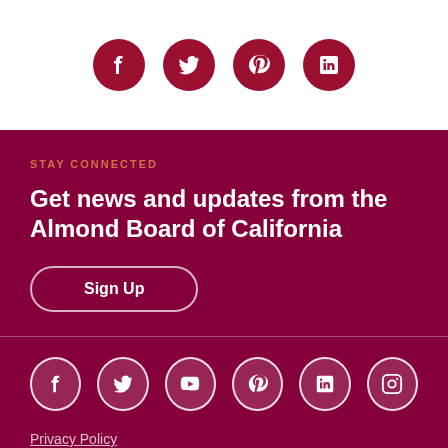[Figure (other): Four dark red circular social media icons: Facebook, Twitter, Pinterest, LinkedIn on white background]
STAY CONNECTED
Get news and updates from the Almond Board of California
Sign Up
[Figure (other): Six white circular social media icons on dark red background: Facebook, Twitter, YouTube, Pinterest, LinkedIn, Instagram]
Privacy Policy